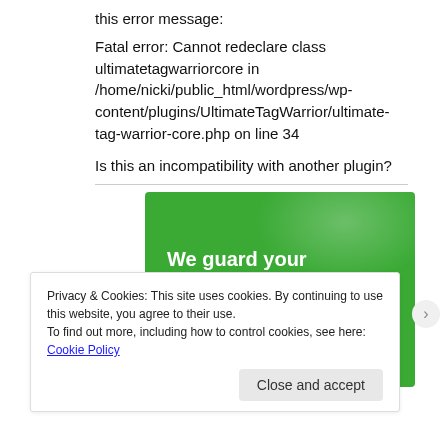this error message:
Fatal error: Cannot redeclare class ultimatetagwarriorcore in /home/nicki/public_html/wordpress/wp-content/plugins/UltimateTagWarrior/ultimate-tag-warrior-core.php on line 34
Is this an incompatibility with another plugin?
[Figure (illustration): Green banner advertisement with bold white text: 'We guard your WordPress site. You run your business.']
Privacy & Cookies: This site uses cookies. By continuing to use this website, you agree to their use.
To find out more, including how to control cookies, see here: Cookie Policy
Close and accept